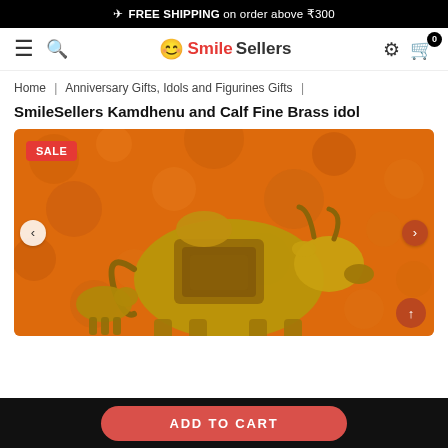✈ FREE SHIPPING on order above ₹300
[Figure (logo): SmileSellers logo with smiley face icon]
Home | Anniversary Gifts, Idols and Figurines Gifts |
SmileSellers Kamdhenu and Calf Fine Brass idol
[Figure (photo): Brass Kamdhenu and Calf idol on orange background with SALE badge]
ADD TO CART